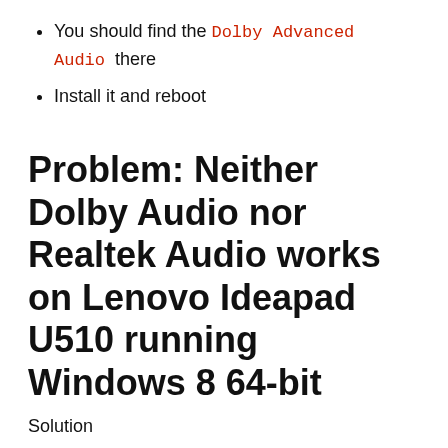You should find the Dolby Advanced Audio there
Install it and reboot
Problem: Neither Dolby Audio nor Realtek Audio works on Lenovo Ideapad U510 running Windows 8 64-bit
Solution
Press the Windows key+R, type appwiz.cpl and press Enter. On the list of programs, remove any instances of Dolby or Realtek Audio and reboot
After the reboot, press the Windows key+R, type